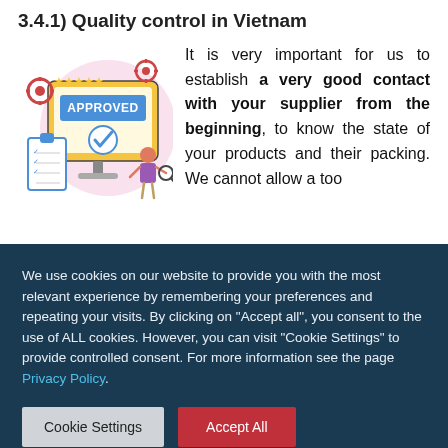3.4.1) Quality control in Vietnam
[Figure (illustration): Illustration of a computer screen showing 'APPROVED' with a checkmark, gears, stars, a clipboard with checklist, and a person with a magnifying glass, with a pink circle background.]
It is very important for us to establish a very good contact with your supplier from the beginning, to know the state of your products and their packing. We cannot allow a too
We use cookies on our website to provide you with the most relevant experience by remembering your preferences and repeating your visits. By clicking on "Accept all", you consent to the use of ALL cookies. However, you can visit "Cookie Settings" to provide controlled consent. For more information see the page Privacy Policy.